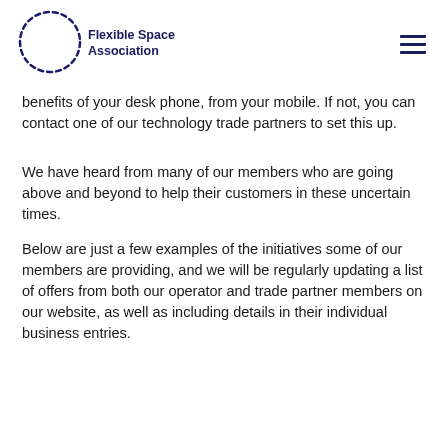Flexible Space Association
benefits of your desk phone, from your mobile. If not, you can contact one of our technology trade partners to set this up.
We have heard from many of our members who are going above and beyond to help their customers in these uncertain times.
Below are just a few examples of the initiatives some of our members are providing, and we will be regularly updating a list of offers from both our operator and trade partner members on our website, as well as including details in their individual business entries.